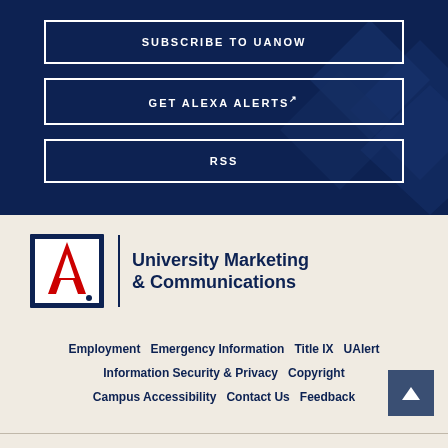SUBSCRIBE TO UANOW
GET ALEXA ALERTS
RSS
[Figure (logo): University of Arizona 'A' logo with University Marketing & Communications text]
Employment   Emergency Information   Title IX   UAlert   Information Security & Privacy   Copyright   Campus Accessibility   Contact Us   Feedback